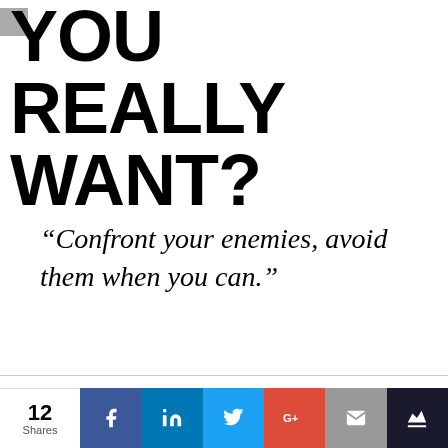YOU REALLY WANT?
“Confront your enemies, avoid them when you can.”
This website uses cookies to improve your experience. By using this site, you indicate your consent with our Privacy Policy. This site is protected by reCAPTCHA and the Google Privacy Policy and Terms
12 Shares | Facebook | LinkedIn | Twitter | Google+ | Email | Crown